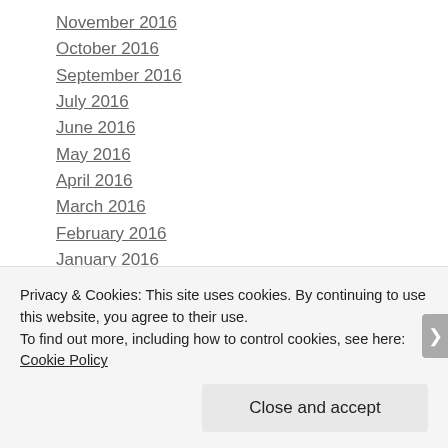November 2016
October 2016
September 2016
July 2016
June 2016
May 2016
April 2016
March 2016
February 2016
January 2016
December 2015
November 2015
October 2015
Privacy & Cookies: This site uses cookies. By continuing to use this website, you agree to their use.
To find out more, including how to control cookies, see here: Cookie Policy
Close and accept